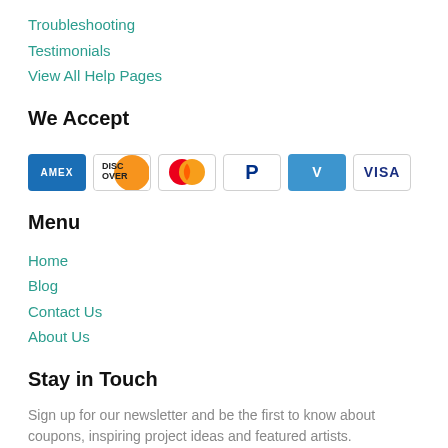Troubleshooting
Testimonials
View All Help Pages
We Accept
[Figure (other): Payment method icons: American Express, Discover, Mastercard, PayPal, Venmo, Visa]
Menu
Home
Blog
Contact Us
About Us
Stay in Touch
Sign up for our newsletter and be the first to know about coupons, inspiring project ideas and featured artists.